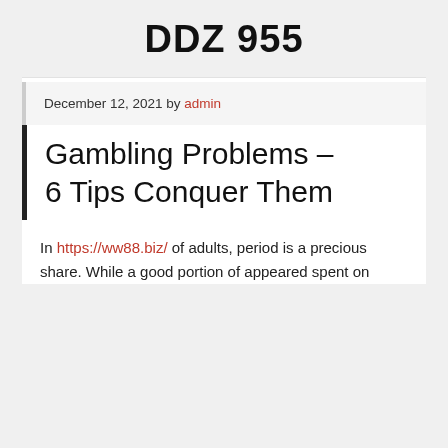DDZ 955
December 12, 2021 by admin
Gambling Problems – 6 Tips Conquer Them
In https://ww88.biz/ of adults, period is a precious share. While a good portion of appeared spent on